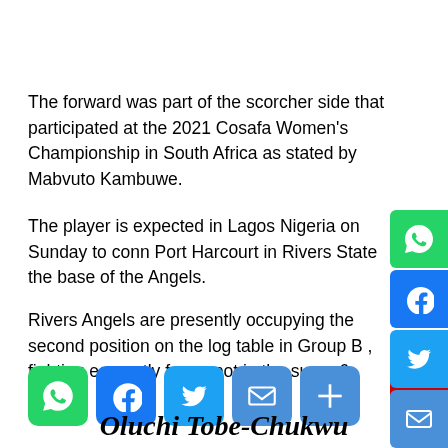The forward was part of the scorcher side that participated at the 2021 Cosafa Women's Championship in South Africa as stated by Mabvuto Kambuwe.
The player is expected in Lagos Nigeria on Sunday to conn Port Harcourt in Rivers State the base of the Angels.
Rivers Angels are presently occupying the second position on the log table in Group B , fighting earnestly for a spot in the super 6.
[Figure (infographic): Social sharing icons row: WhatsApp, Facebook, Twitter, Email, Share buttons]
Oluchi Tobe-Chukwu